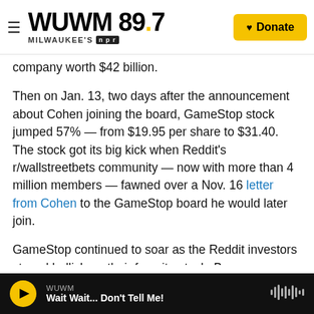WUWM 89.7 MILWAUKEE'S NPR | Donate
company worth $42 billion.
Then on Jan. 13, two days after the announcement about Cohen joining the board, GameStop stock jumped 57% — from $19.95 per share to $31.40. The stock got its big kick when Reddit's r/wallstreetbets community — now with more than 4 million members — fawned over a Nov. 16 letter from Cohen to the GameStop board he would later join.
GameStop continued to soar as the Reddit investors stayed bullish on their favorite stock. By
WUWM | Wait Wait... Don't Tell Me!